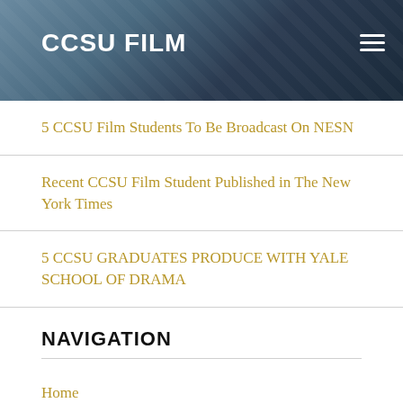CCSU FILM
5 CCSU Film Students To Be Broadcast On NESN
Recent CCSU Film Student Published in The New York Times
5 CCSU GRADUATES PRODUCE WITH YALE SCHOOL OF DRAMA
NAVIGATION
Home
Featured Films
Instruction